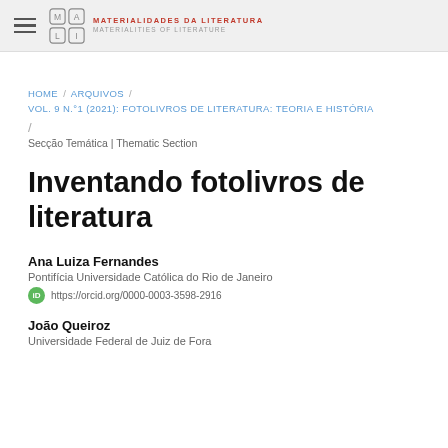MATERIALIDADES DA LITERATURA / MATERIALITIES OF LITERATURE
HOME / ARQUIVOS / VOL. 9 N.°1 (2021): FOTOLIVROS DE LITERATURA: TEORIA E HISTÓRIA / Secção Temática | Thematic Section
Inventando fotolivros de literatura
Ana Luiza Fernandes
Pontifícia Universidade Católica do Rio de Janeiro
https://orcid.org/0000-0003-3598-2916
João Queiroz
Universidade Federal de Juiz de Fora